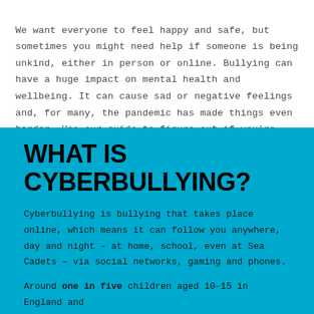We want everyone to feel happy and safe, but sometimes you might need help if someone is being unkind, either in person or online. Bullying can have a huge impact on mental health and wellbeing. It can cause sad or negative feelings and, for many, the pandemic has made things even harder. Use our guide to figure out if you're experiencing cyberbullying and what do to.
WHAT IS CYBERBULLYING?
Cyberbullying is bullying that takes place online, which means it can follow you anywhere, day and night – at home, school, even at Sea Cadets – via social networks, gaming and phones.
Around one in five children aged 10–15 in England and